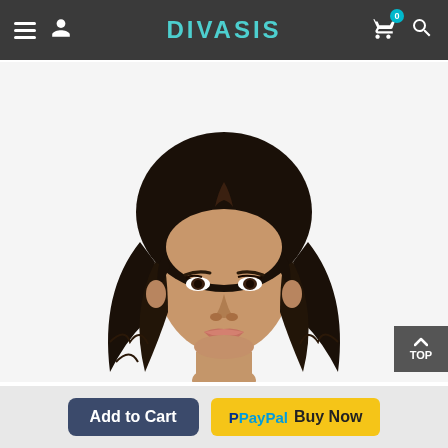DIVASIS — navigation header with hamburger menu, user icon, cart (0), and search icon
[Figure (photo): A mannequin head wearing a dark black wavy mid-length wig, displayed on a white background. The mannequin has realistic facial features.]
TOP
Add to Cart
PayPal Buy Now